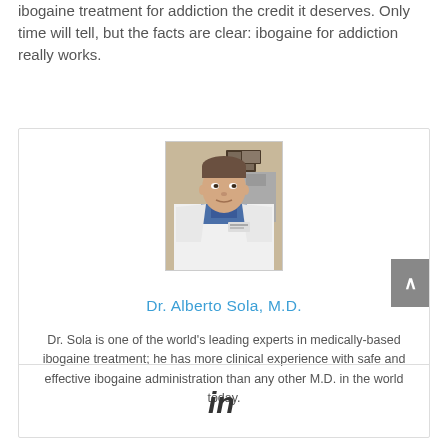ibogaine treatment for addiction the credit it deserves. Only time will tell, but the facts are clear: ibogaine for addiction really works.
[Figure (photo): Portrait photo of Dr. Alberto Sola, M.D., wearing a white lab coat, standing in what appears to be a medical office with framed items on the wall behind him.]
Dr. Alberto Sola, M.D.
Dr. Sola is one of the world's leading experts in medically-based ibogaine treatment; he has more clinical experience with safe and effective ibogaine administration than any other M.D. in the world today.
[Figure (logo): LinkedIn logo icon]